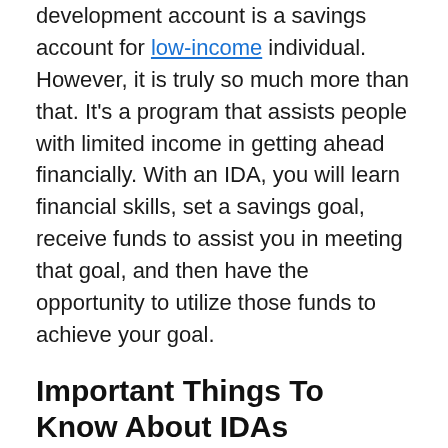development account is a savings account for low-income individual. However, it is truly so much more than that. It’s a program that assists people with limited income in getting ahead financially. With an IDA, you will learn financial skills, set a savings goal, receive funds to assist you in meeting that goal, and then have the opportunity to utilize those funds to achieve your goal.
Important Things To Know About IDAs
Here are some of the most important things to know if you are interested in these accounts: